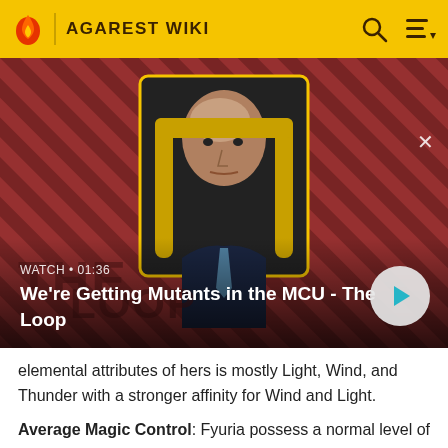AGAREST WIKI
[Figure (screenshot): Video thumbnail showing a bald man in a suit seated in a chair against a red diagonal-striped background. Overlay text: 'WATCH • 01:36' and 'We're Getting Mutants in the MCU - The Loop' with a play button.]
elemental attributes of hers is mostly Light, Wind, and Thunder with a stronger affinity for Wind and Light.
Average Magic Control: Fyuria possess a normal level of control over the flow of magical energy, however, any form of magic beyond her own abilities requires the aid of